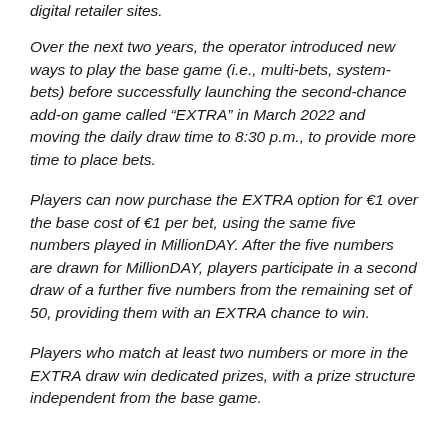digital retailer sites.
Over the next two years, the operator introduced new ways to play the base game (i.e., multi-bets, system-bets) before successfully launching the second-chance add-on game called “EXTRA” in March 2022 and moving the daily draw time to 8:30 p.m., to provide more time to place bets.
Players can now purchase the EXTRA option for €1 over the base cost of €1 per bet, using the same five numbers played in MillionDAY. After the five numbers are drawn for MillionDAY, players participate in a second draw of a further five numbers from the remaining set of 50, providing them with an EXTRA chance to win.
Players who match at least two numbers or more in the EXTRA draw win dedicated prizes, with a prize structure independent from the base game.